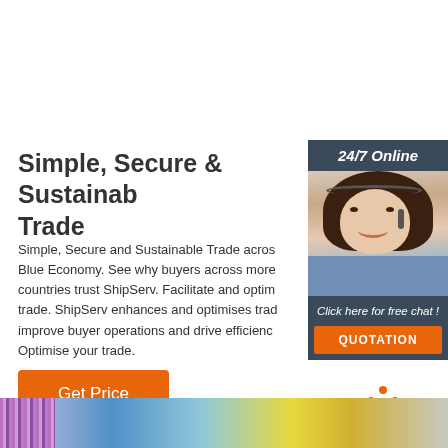Simple, Secure & Sustainable Trade
Simple, Secure and Sustainable Trade across Blue Economy. See why buyers across more countries trust ShipServ. Facilitate and optimise trade. ShipServ enhances and optimises trade to improve buyer operations and drive efficiency. Optimise your trade.
Get Price
[Figure (photo): Woman wearing headset smiling, customer service agent photo with '24/7 Online' badge and 'Click here for free chat!' text with QUOTATION button]
[Figure (logo): TOP logo with orange dots arranged in triangle shape above orange text 'TOP']
[Figure (photo): Bottom strip showing partial view of content/image strip]